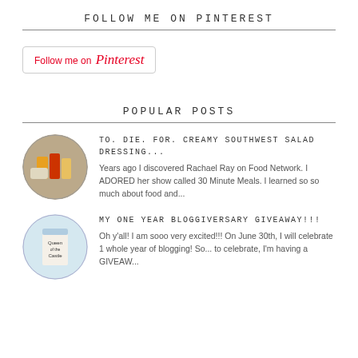FOLLOW ME ON PINTEREST
[Figure (logo): Pinterest follow button with red text 'Follow me on Pinterest']
POPULAR POSTS
[Figure (photo): Circular thumbnail of salad dressing bottles]
TO. DIE. FOR. CREAMY SOUTHWEST SALAD DRESSING...
Years ago I discovered Rachael Ray on Food Network. I ADORED her show called 30 Minute Meals. I learned so so much about food and...
[Figure (photo): Circular thumbnail of a book cover]
MY ONE YEAR BLOGGIVERSARY GIVEAWAY!!!
Oh y'all! I am sooo very excited!!! On June 30th, I will celebrate 1 whole year of blogging! So... to celebrate, I'm having a GIVEAW...